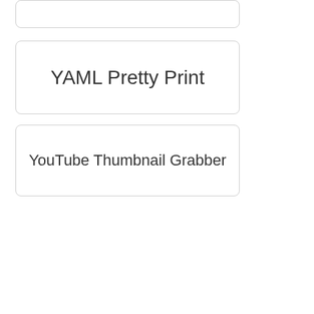YAML Pretty Print
YouTube Thumbnail Grabber